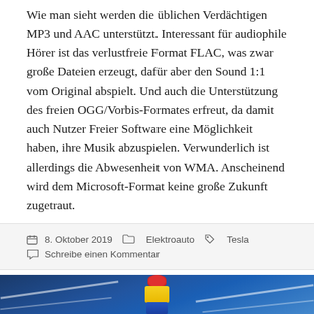Wie man sieht werden die üblichen Verdächtigen MP3 und AAC unterstützt. Interessant für audiophile Hörer ist das verlustfreie Format FLAC, was zwar große Dateien erzeugt, dafür aber den Sound 1:1 vom Original abspielt. Und auch die Unterstützung des freien OGG/Vorbis-Formates erfreut, da damit auch Nutzer Freier Software eine Möglichkeit haben, ihre Musik abzuspielen. Verwunderlich ist allerdings die Abwesenheit von WMA. Anscheinend wird dem Microsoft-Format keine große Zukunft zugetraut.
8. Oktober 2019  Elektroauto  Tesla  Schreibe einen Kommentar
[Figure (photo): Photo of stacked colorful cylinders (red, yellow, blue) on a blue surface with white lines, likely a road or parking area scene.]